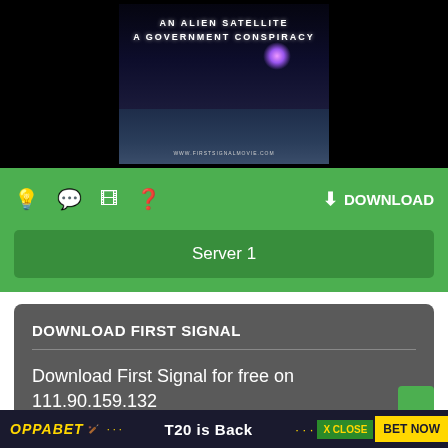[Figure (screenshot): Movie thumbnail with dark space background showing text 'AN ALIEN SATELLITE A GOVERNMENT CONSPIRACY' with a glowing purple light and moon surface]
[Figure (screenshot): Green toolbar with icons (lightbulb, chat, film, question mark) and DOWNLOAD button on right]
Server 1
DOWNLOAD FIRST SIGNAL
Download First Signal for free on 111.90.159.132
Download
[Figure (screenshot): Ad banner: OPPABET logo, cricket bat imagery, 'T20 is Back' text, X CLOSE button, BET NOW button]